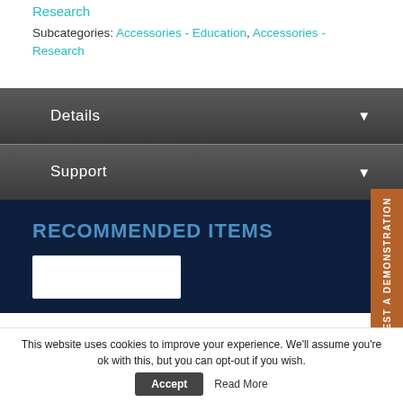Research
Subcategories: Accessories - Education, Accessories - Research
Details
Support
REQUEST A DEMONSTRATION
RECOMMENDED ITEMS
This website uses cookies to improve your experience. We'll assume you're ok with this, but you can opt-out if you wish.
Accept  Read More